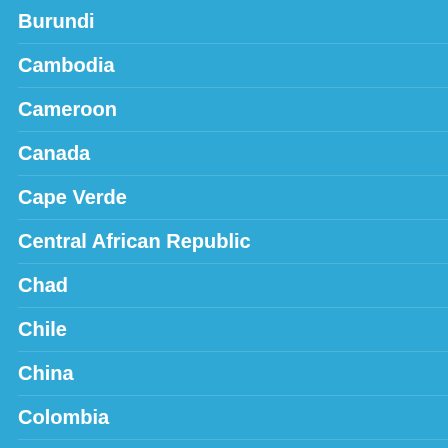Burundi
Cambodia
Cameroon
Canada
Cape Verde
Central African Republic
Chad
Chile
China
Colombia
Comoros
Congo
Costa Rica
Côte d'Ivoire
Help : How to read and make sense of the Ci...
Each slice of a circle is the summation of the... the layer on top of it, i.e.
M ECO Meter
For more detailed info, visit: http://mecometer.com...
Indicator N...
GDP (current US$)
Gross national... (current US$...
Fi... ex... (cu...